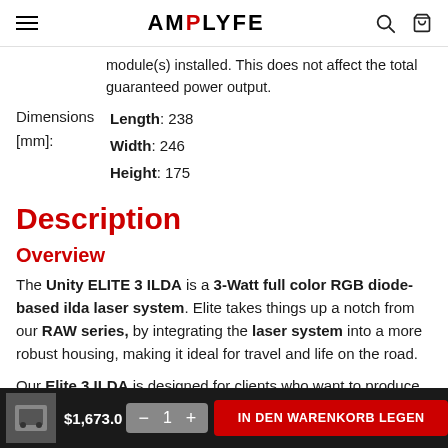AMPLYFE
module(s) installed. This does not affect the total guaranteed power output.
| Property | Value |
| --- | --- |
| Dimensions [mm]: | Length: 238
Width: 246
Height: 175 |
Description
Overview
The Unity ELITE 3 ILDA is a 3-Watt full color RGB diode-based ilda laser system. Elite takes things up a notch from our RAW series, by integrating the laser system into a more robust housing, making it ideal for travel and life on the road.
Our Elite 3 ILDA is designed for clients who want to produce
$1,673.0  — 1 +  IN DEN WARENKORB LEGEN